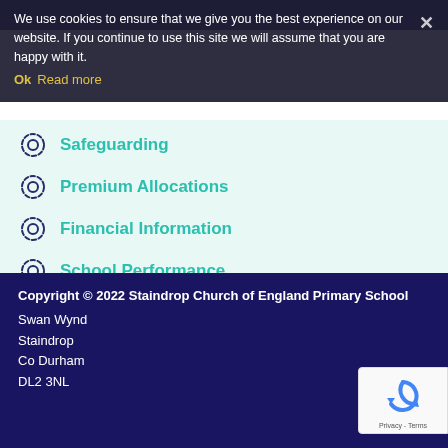We use cookies to ensure that we give you the best experience on our website. If you continue to use this site we will assume that you are happy with it.
Ok  Read more
Safeguarding
Premium Allocations
Financial Information
School Performance
School Policies
Copyright © 2022 Staindrop Church of England Primary School
Swan Wynd
Staindrop
Co Durham
DL2 3NL